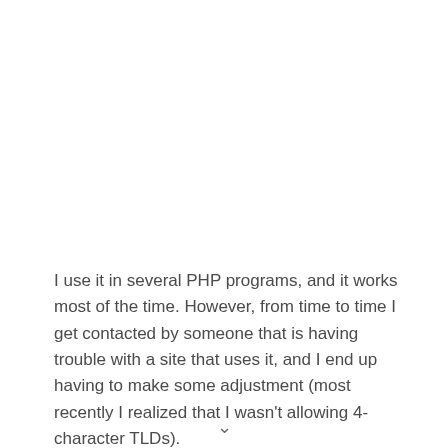I use it in several PHP programs, and it works most of the time. However, from time to time I get contacted by someone that is having trouble with a site that uses it, and I end up having to make some adjustment (most recently I realized that I wasn't allowing 4-character TLDs).